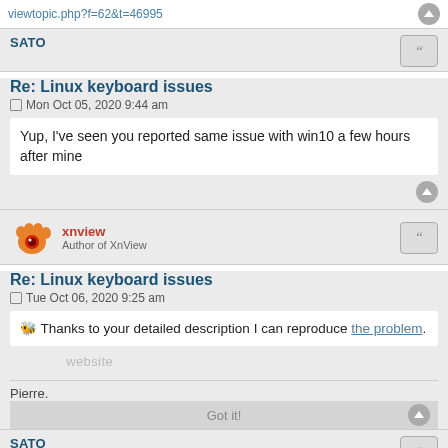viewtopic.php?f=62&t=46995
SATO
Re: Linux keyboard issues
Mon Oct 05, 2020 9:44 am
Yup, I've seen you reported same issue with win10 a few hours after mine
[Figure (illustration): XnView logo - orange paw with red eye]
xnview
Author of XnView
Re: Linux keyboard issues
Tue Oct 06, 2020 9:25 am
🐝 Thanks to your detailed description I can reproduce the problem.
Pierre.
SATO